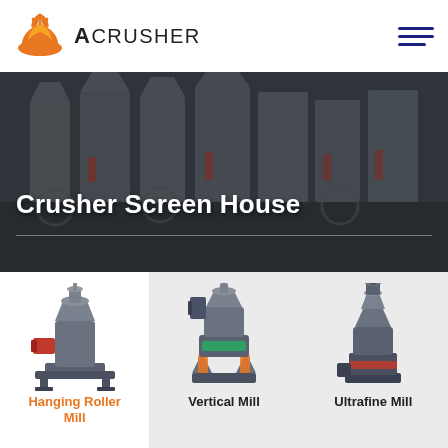ACRUSHER
[Figure (photo): Industrial crusher/mill machines in a factory floor, multiple large gray machines in a row]
Crusher Screen House
[Figure (photo): Hanging Roller Mill machine product photo]
[Figure (photo): Vertical Mill machine product photo]
[Figure (photo): Ultrafine Mill machine product photo]
Hanging Roller Mill
Vertical Mill
Ultrafine Mill